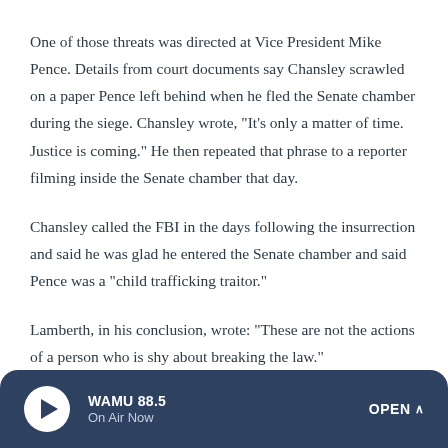One of those threats was directed at Vice President Mike Pence. Details from court documents say Chansley scrawled on a paper Pence left behind when he fled the Senate chamber during the siege. Chansley wrote, "It's only a matter of time. Justice is coming." He then repeated that phrase to a reporter filming inside the Senate chamber that day.
Chansley called the FBI in the days following the insurrection and said he was glad he entered the Senate chamber and said Pence was a "child trafficking traitor."
Lamberth, in his conclusion, wrote: "These are not the actions of a person who is shy about breaking the law."
WAMU 88.5 On Air Now OPEN